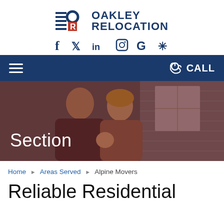[Figure (logo): Oakley Relocation logo with stylized O and R icon in blue and red, next to bold text OAKLEY RELOCATION]
[Figure (infographic): Social media icons: Facebook, Twitter, LinkedIn, Instagram, Google, Yelp in dark blue]
[Figure (infographic): Dark blue navigation bar with hamburger menu on left and phone/CALL button on right]
[Figure (photo): Hero image of a smiling family (man, woman, baby) in front of a house, with dark red overlay and 'Section' text overlay]
Home ► Areas Served ► Alpine Movers
Reliable Residential